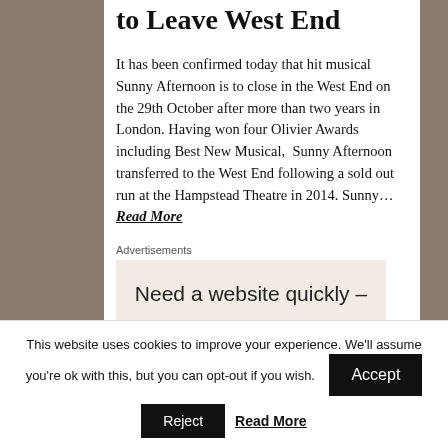to Leave West End
It has been confirmed today that hit musical Sunny Afternoon is to close in the West End on the 29th October after more than two years in London. Having won four Olivier Awards including Best New Musical,  Sunny Afternoon transferred to the West End following a sold out run at the Hampstead Theatre in 2014. Sunny… Read More
Advertisements
Need a website quickly –
This website uses cookies to improve your experience. We'll assume you're ok with this, but you can opt-out if you wish. Accept Reject Read More